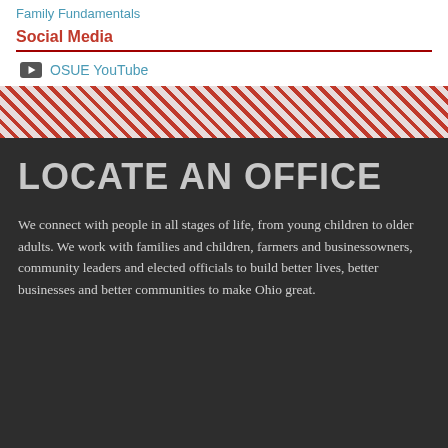Family Fundamentals
Social Media
OSUE YouTube
[Figure (other): Diagonal red and white stripe decorative band]
LOCATE AN OFFICE
We connect with people in all stages of life, from young children to older adults. We work with families and children, farmers and businessowners, community leaders and elected officials to build better lives, better businesses and better communities to make Ohio great.